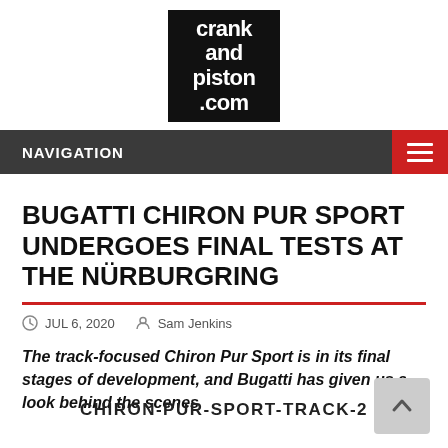[Figure (logo): Crank and Piston .com logo — black square with bold white rounded text reading 'crank and piston .com']
NAVIGATION
BUGATTI CHIRON PUR SPORT UNDERGOES FINAL TESTS AT THE NÜRBURGRING
JUL 6, 2020   Sam Jenkins
The track-focused Chiron Pur Sport is in its final stages of development, and Bugatti has given us a look behind the scenes
CHIRON-PUR-SPORT-TRACK-2